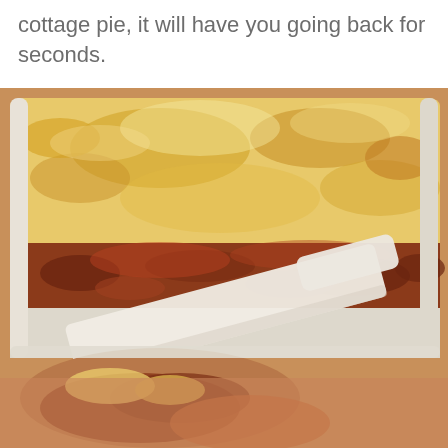cottage pie, it will have you going back for seconds.
[Figure (photo): Close-up photo of a cottage pie in a white baking dish being served with a white spatula. The pie shows a golden-brown mashed potato topping over a rich, saucy meat filling, with a portion removed revealing the layers.]